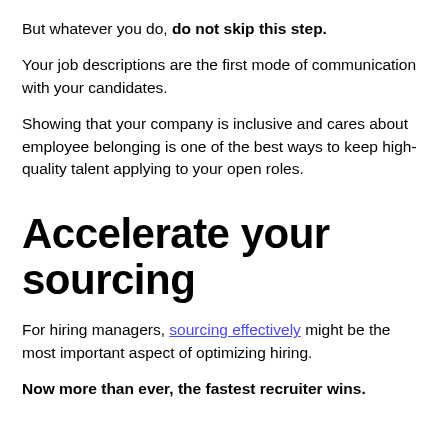But whatever you do, do not skip this step.
Your job descriptions are the first mode of communication with your candidates.
Showing that your company is inclusive and cares about employee belonging is one of the best ways to keep high-quality talent applying to your open roles.
Accelerate your sourcing
For hiring managers, sourcing effectively might be the most important aspect of optimizing hiring.
Now more than ever, the fastest recruiter wins.